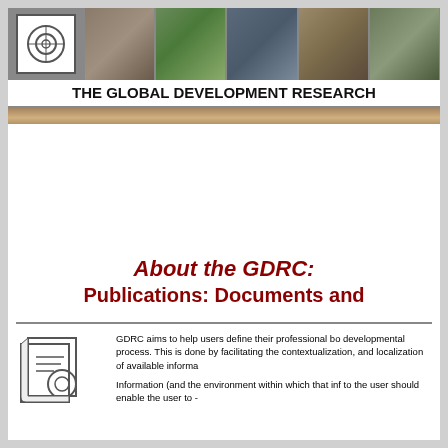[Figure (illustration): Banner header with logo on left and multiple landscape photos across the top]
THE GLOBAL DEVELOPMENT RESEARCH
About the GDRC:
Publications: Documents and
GDRC aims to help users define their professional bo developmental process. This is done by facilitating the contextualization, and localization of available informa

Information (and the environment within which that inf to the user should enable the user to -
a. localize it - i.e. scale it down to the level that it will be used.
b. contextualize it - i.e. link it to the situation that in which it will be used
c. customize it - i.e. manage it to satisfy the need for such information.